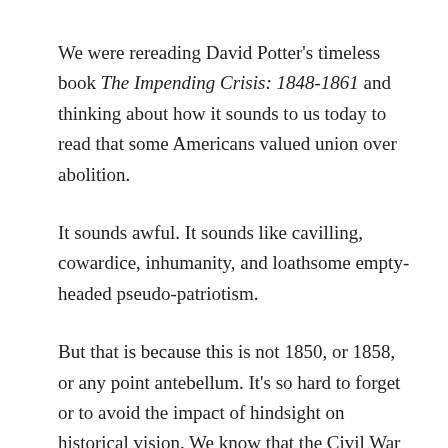We were rereading David Potter's timeless book The Impending Crisis: 1848-1861 and thinking about how it sounds to us today to read that some Americans valued union over abolition.
It sounds awful. It sounds like cavilling, cowardice, inhumanity, and loathsome empty-headed pseudo-patriotism.
But that is because this is not 1850, or 1858, or any point antebellum. It's so hard to forget or to avoid the impact of hindsight on historical vision. We know that the Civil War did not end in permanent disunion, that the United States continued, grew, and thrived after